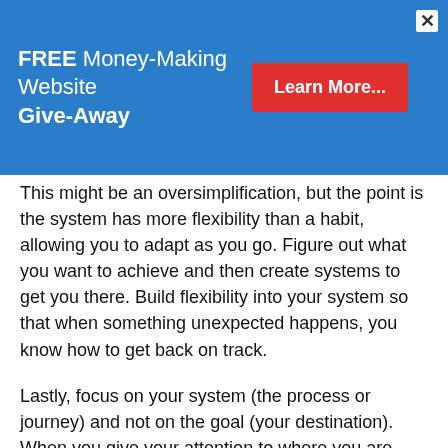[Figure (infographic): Blue banner advertisement: FREE Money-Making Website Give-Away with a red Learn More button and an X close button]
This might be an oversimplification, but the point is the system has more flexibility than a habit, allowing you to adapt as you go. Figure out what you want to achieve and then create systems to get you there. Build flexibility into your system so that when something unexpected happens, you know how to get back on track.
Lastly, focus on your system (the process or journey) and not on the goal (your destination). When you give your attention to where you are now (the system) you'll find you're much happier in the moment than if you are continually wishing for the goal itself. You'll be able to celebrate little victories every single day by using your systems, rather than putting happiness off until you finally reach your destination.
Plus when you do reach your destination, because you have